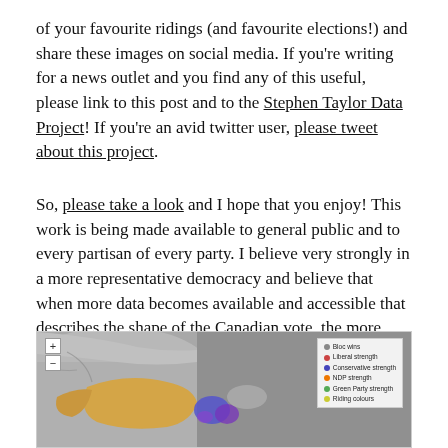of your favourite ridings (and favourite elections!) and share these images on social media. If you're writing for a news outlet and you find any of this useful, please link to this post and to the Stephen Taylor Data Project! If you're an avid twitter user, please tweet about this project.
So, please take a look and I hope that you enjoy! This work is being made available to general public and to every partisan of every party. I believe very strongly in a more representative democracy and believe that when more data becomes available and accessible that describes the shape of the Canadian vote, the more responsive our candidates can be in meeting that representation.
[Figure (map): Interactive map of Canada showing riding-level election data with colored regions (grey, orange, blue/purple) and a legend in the top-right corner with zoom controls (+/-) on the left. Legend shows various strength categories.]